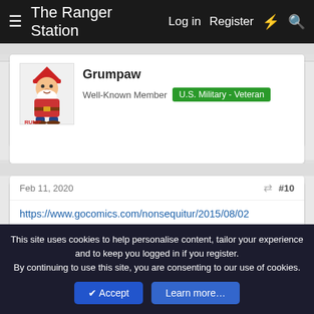The Ranger Station  Log in  Register
Grumpaw
Well-Known Member  U.S. Military - Veteran
Feb 11, 2020  #10
https://www.gocomics.com/nonsequitur/2015/08/02
Roert42, sgtsandman and PetroleumJunkie412
Dirtman
Former Middleweight Moss Fighting Champion  Supporting Member
Feb 11, 2020  #11
This site uses cookies to help personalise content, tailor your experience and to keep you logged in if you register.
By continuing to use this site, you are consenting to our use of cookies.